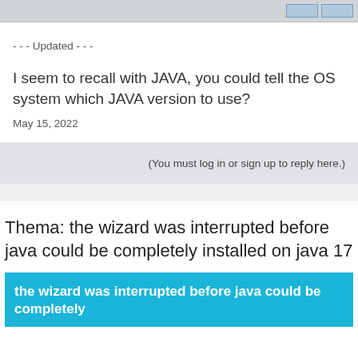[Figure (screenshot): Top portion of a UI window with grey background and two small button stubs on the right side]
- - - Updated - - -
I seem to recall with JAVA, you could tell the OS system which JAVA version to use?
May 15, 2022
(You must log in or sign up to reply here.)
Thema: the wizard was interrupted before java could be completely installed on java 17
the wizard was interrupted before java could be completely